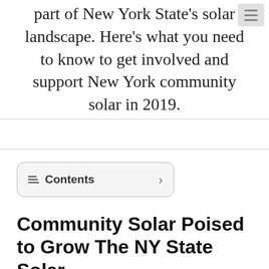part of New York State's solar landscape. Here's what you need to know to get involved and support New York community solar in 2019.
Contents
Community Solar Poised to Grow The NY State Solar Market